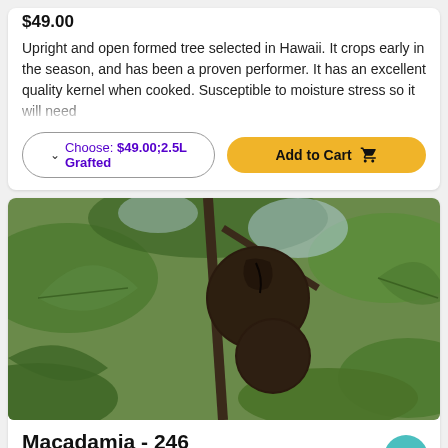$49.00
Upright and open formed tree selected in Hawaii. It crops early in the season, and has been a proven performer. It has an excellent quality kernel when cooked. Susceptible to moisture stress so it will need...
Choose: $49.00;2.5L Grafted
Add to Cart
[Figure (photo): Close-up photo of macadamia nuts on a tree branch, surrounded by green leaves]
Macadamia - 246
$54.00